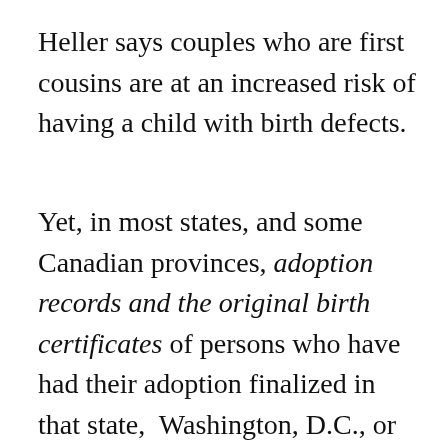Heller says couples who are first cousins are at an increased risk of having a child with birth defects.
Yet, in most states, and some Canadian provinces, adoption records and the original birth certificates of persons who have had their adoption finalized in that state, Washington, D.C., or province, are sealed by that [continues]